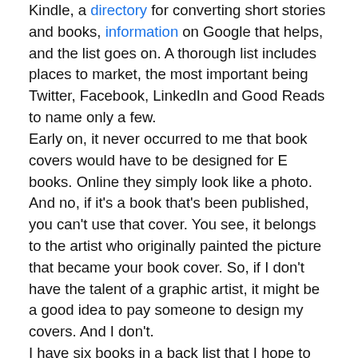Kindle, a directory for converting short stories and books, information on Google that helps, and the list goes on. A thorough list includes places to market, the most important being Twitter, Facebook, LinkedIn and Good Reads to name only a few.
Early on, it never occurred to me that book covers would have to be designed for E books. Online they simply look like a photo. And no, if it's a book that's been published, you can't use that cover. You see, it belongs to the artist who originally painted the picture that became your book cover. So, if I don't have the talent of a graphic artist, it might be a good idea to pay someone to design my covers. And I don't.
I have six books in a back list that I hope to publish to Kindle and other E book readers such as Nook. Can I afford to pay someone to design the covers? Friends have sent me names of several artists who may be able to work...